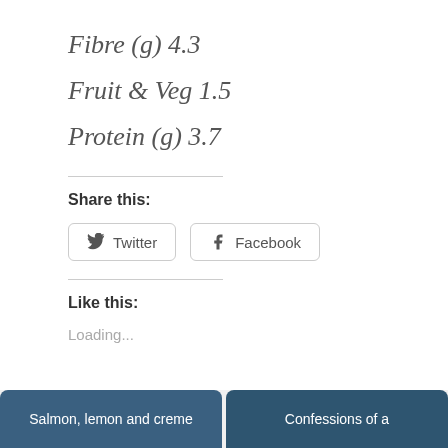Fibre (g) 4.3
Fruit & Veg 1.5
Protein (g) 3.7
Share this:
[Figure (other): Twitter and Facebook share buttons with icons]
Like this:
Loading...
Salmon, lemon and creme   Confessions of a